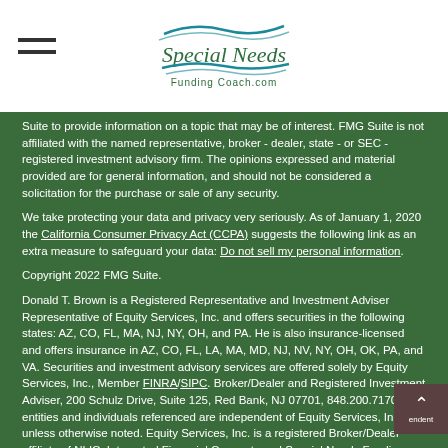Special Needs Funding Coach
Suite to provide information on a topic that may be of interest. FMG Suite is not affiliated with the named representative, broker - dealer, state - or SEC - registered investment advisory firm. The opinions expressed and material provided are for general information, and should not be considered a solicitation for the purchase or sale of any security.
We take protecting your data and privacy very seriously. As of January 1, 2020 the California Consumer Privacy Act (CCPA) suggests the following link as an extra measure to safeguard your data: Do not sell my personal information.
Copyright 2022 FMG Suite.
Donald T. Brown is a Registered Representative and Investment Adviser Representative of Equity Services, Inc. and offers securities in the following states: AZ, CO, FL, MA, NJ, NY, OH, and PA. He is also insurance-licensed and offers insurance in AZ, CO, FL, LA, MA, MD, NJ, NV, NY, OH, OK, PA, and VA. Securities and investment advisory services are offered solely by Equity Services, Inc., Member FINRA/SIPC. Broker/Dealer and Registered Investment Adviser, 200 Schulz Drive, Suite 125, Red Bank, NJ 07701, 848.200.7170. All entities and individuals referenced are independent of Equity Services, Inc. unless otherwise noted. Equity Services, Inc. is a registered Broker/Dealer affiliate of NLIC. Integrated Financial Concepts and Special Needs Funding Coach are independent of Equity Services, Inc. TC110476(1019)